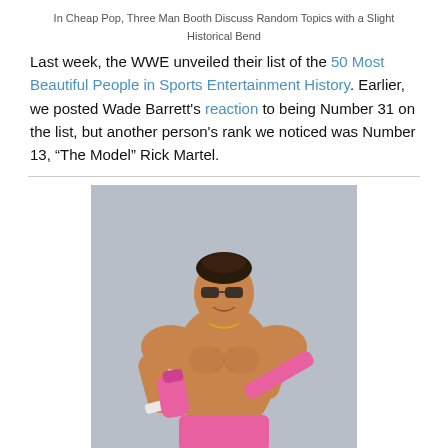In Cheap Pop, Three Man Booth Discuss Random Topics with a Slight Historical Bend
Last week, the WWE unveiled their list of the 50 Most Beautiful People in Sports Entertainment History. Earlier, we posted Wade Barrett's reaction to being Number 31 on the list, but another person's rank we noticed was Number 13, “The Model” Rick Martel.
[Figure (photo): Photo of Rick Martel, a muscular wrestler wearing sunglasses and pink trunks, holding a pink bottle/object, posed against a grey background.]